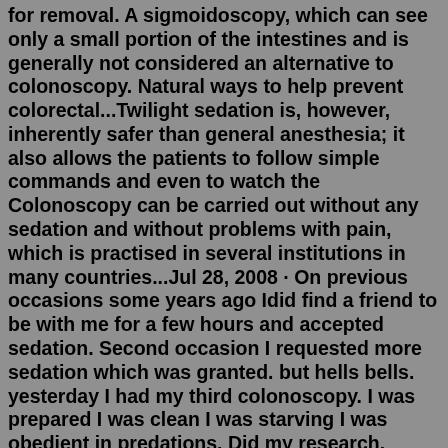for removal. A sigmoidoscopy, which can see only a small portion of the intestines and is generally not considered an alternative to colonoscopy. Natural ways to help prevent colorectal...Twilight sedation is, however, inherently safer than general anesthesia; it also allows the patients to follow simple commands and even to watch the Colonoscopy can be carried out without any sedation and without problems with pain, which is practised in several institutions in many countries...Jul 28, 2008 · On previous occasions some years ago Idid find a friend to be with me for a few hours and accepted sedation. Second occasion I requested more sedation which was granted. but hells bells. yesterday I had my third colonoscopy. I was prepared I was clean I was starving I was obedient in predations. Did my research. procedure might be uncomfortable ... Jul 28, 2008 · On previous occasions some years ago Idid find a friend to be with me for a few hours and accepted sedation. Second occasion I requested more sedation which was granted. but hells bells. yesterday I had my third colonoscopy. I was